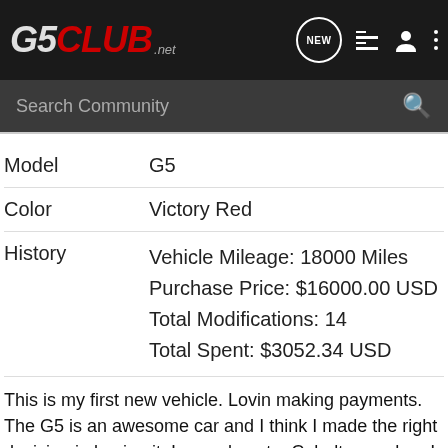G5CLUB.net
| Field | Value |
| --- | --- |
| Model | G5 |
| Color | Victory Red |
| History | Vehicle Mileage: 18000 Miles
Purchase Price: $16000.00 USD
Total Modifications: 14
Total Spent: $3052.34 USD |
This is my first new vehicle. Lovin making payments. The G5 is an awesome car and I think I made the right decision in buying it. I was almost a Cobalt guy when I stumbled across the G5s. Hope you like.
Modifications